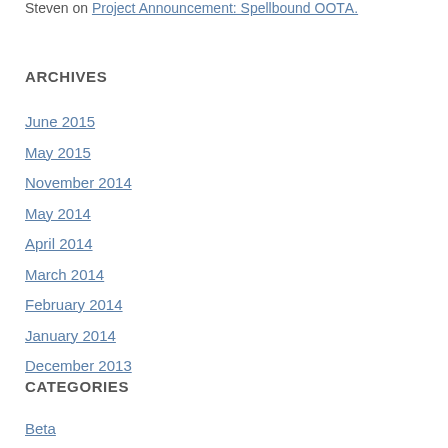Steven on Project Announcement: Spellbound OOTА.
ARCHIVES
June 2015
May 2015
November 2014
May 2014
April 2014
March 2014
February 2014
January 2014
December 2013
CATEGORIES
Beta